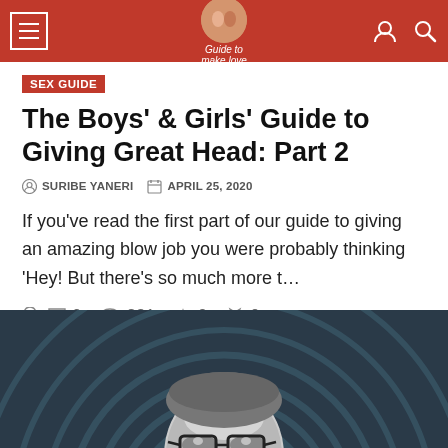Guide to make love
SEX GUIDE
The Boys' & Girls' Guide to Giving Great Head: Part 2
SURIBE YANERI  APRIL 25, 2020
If you've read the first part of our guide to giving an amazing blow job you were probably thinking 'Hey! But there's so much more t...
0  231  0  0
[Figure (photo): Black and white photo of a man with glasses, eyes closed, against a spiral pattern background]